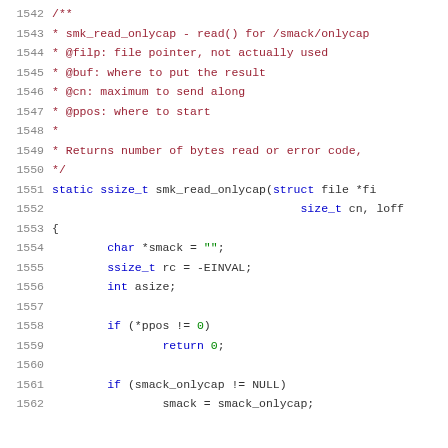Source code listing lines 1542-1562 showing smk_read_onlycap function in C with doc comment and variable declarations